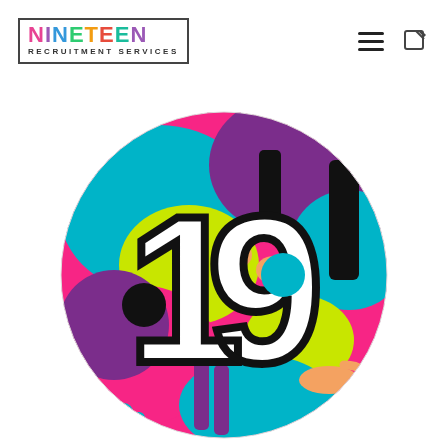[Figure (logo): Nineteen Recruitment Services logo: colorful letters spelling NINETEEN above 'RECRUITMENT SERVICES' in a bordered box]
[Figure (illustration): Large circle with colorful abstract/pop-art background in pink, teal, purple, yellow-green, orange, black, featuring large white bold '19' numerals in the center]